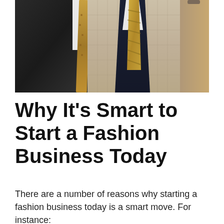[Figure (photo): Two mannequin torsos dressed in formal men's suits with gold ties. Left mannequin wears a dark suit with a gold dotted tie. Center/right mannequin wears a plaid/check blazer over a navy vest with a white shirt and gold striped tie. Warm brown background.]
Why It’s Smart to Start a Fashion Business Today
There are a number of reasons why starting a fashion business today is a smart move. For instance: